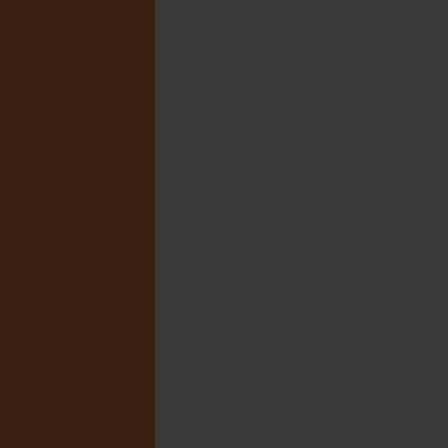Some weapons will also confer additional benefits if you have the